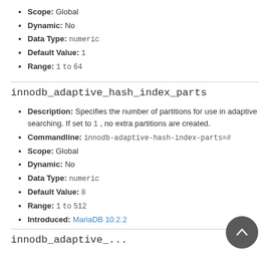Scope: Global
Dynamic: No
Data Type: numeric
Default Value: 1
Range: 1 to 64
innodb_adaptive_hash_index_parts
Description: Specifies the number of partitions for use in adaptive searching. If set to 1, no extra partitions are created.
Commandline: innodb-adaptive-hash-index-parts=#
Scope: Global
Dynamic: No
Data Type: numeric
Default Value: 8
Range: 1 to 512
Introduced: MariaDB 10.2.2
innodb_adaptive_...